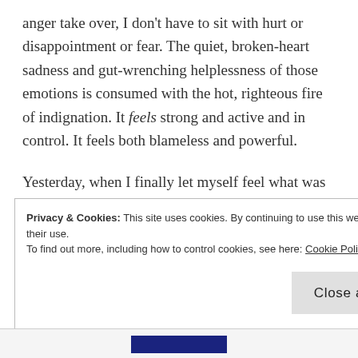anger take over, I don't have to sit with hurt or disappointment or fear. The quiet, broken-heart sadness and gut-wrenching helplessness of those emotions is consumed with the hot, righteous fire of indignation. It feels strong and active and in control. It feels both blameless and powerful.
Yesterday, when I finally let myself feel what was underneath the rage, it sucked. A lot. I felt hurt and embarrassed. I emailed a friend, writing, "I feel like sometimes I am just here for someone to blame."
Privacy & Cookies: This site uses cookies. By continuing to use this website, you agree to their use.
To find out more, including how to control cookies, see here: Cookie Policy
Close and accept